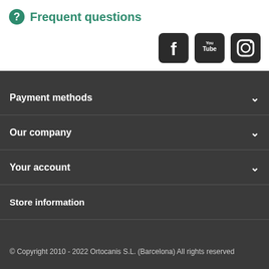Frequent questions
[Figure (logo): Social media icons: Facebook, YouTube, Instagram]
Payment methods
Our company
Your account
Store information
© Copyright 2010 - 2022 Ortocanis S.L. (Barcelona) All rights reserved